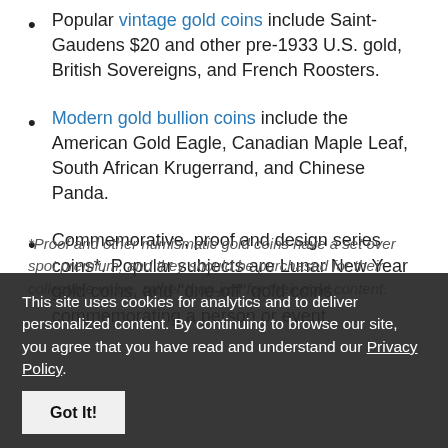Popular vintage gold coins include Saint-Gaudens $20 and other pre-1933 U.S. gold, British Sovereigns, and French Roosters.
Modern gold bullion coins include the American Gold Eagle, Canadian Maple Leaf, South African Krugerrand, and Chinese Panda.
Commemorative, proof and design series coins*. Popular subjects are Lunar New Year gold coins, and "one-off" gold coins commemorating a person or event.
*Proof and other numismatic gold coins have a set over spot premium, and they should be purchased for their collectible value, rather than just for their gold content.
This site uses cookies for analytics and to deliver personalized content. By continuing to browse our site, you agree that you have read and understand our Privacy Policy.